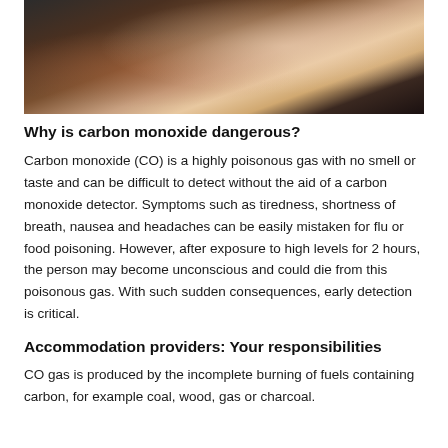[Figure (photo): Two people (appears to be a parent and child) smiling and embracing, one wearing a red and white striped scarf, cozy indoor setting]
Why is carbon monoxide dangerous?
Carbon monoxide (CO) is a highly poisonous gas with no smell or taste and can be difficult to detect without the aid of a carbon monoxide detector. Symptoms such as tiredness, shortness of breath, nausea and headaches can be easily mistaken for flu or food poisoning. However, after exposure to high levels for 2 hours, the person may become unconscious and could die from this poisonous gas. With such sudden consequences, early detection is critical.
Accommodation providers: Your responsibilities
CO gas is produced by the incomplete burning of fuels containing carbon, for example coal, wood, gas or charcoal.